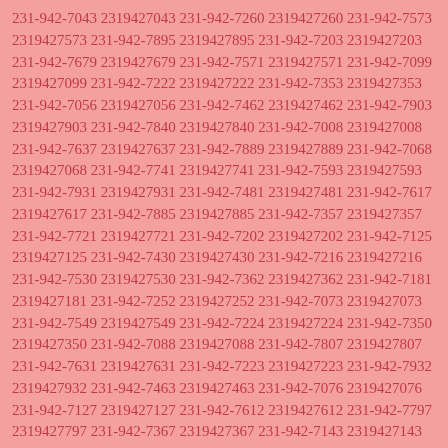231-942-7043 2319427043 231-942-7260 2319427260 231-942-7573 2319427573 231-942-7895 2319427895 231-942-7203 2319427203 231-942-7679 2319427679 231-942-7571 2319427571 231-942-7099 2319427099 231-942-7222 2319427222 231-942-7353 2319427353 231-942-7056 2319427056 231-942-7462 2319427462 231-942-7903 2319427903 231-942-7840 2319427840 231-942-7008 2319427008 231-942-7637 2319427637 231-942-7889 2319427889 231-942-7068 2319427068 231-942-7741 2319427741 231-942-7593 2319427593 231-942-7931 2319427931 231-942-7481 2319427481 231-942-7617 2319427617 231-942-7885 2319427885 231-942-7357 2319427357 231-942-7721 2319427721 231-942-7202 2319427202 231-942-7125 2319427125 231-942-7430 2319427430 231-942-7216 2319427216 231-942-7530 2319427530 231-942-7362 2319427362 231-942-7181 2319427181 231-942-7252 2319427252 231-942-7073 2319427073 231-942-7549 2319427549 231-942-7224 2319427224 231-942-7350 2319427350 231-942-7088 2319427088 231-942-7807 2319427807 231-942-7631 2319427631 231-942-7223 2319427223 231-942-7932 2319427932 231-942-7463 2319427463 231-942-7076 2319427076 231-942-7127 2319427127 231-942-7612 2319427612 231-942-7797 2319427797 231-942-7367 2319427367 231-942-7143 2319427143 231-942-7776 2319427776 231-942-7347 2319427347 231-942-7023 2319427023 231-942-7212 2319427212 231-942-7240 2319427240 231-942-7089 2319427089 231-942-7676 2319427676 231-942-7751 2319427751 231-942-7999 2319427999 231-942-7504 2319427504 231-942-7165 2319427165 231-942-7820 2319427820 231-942-7358 2319427358